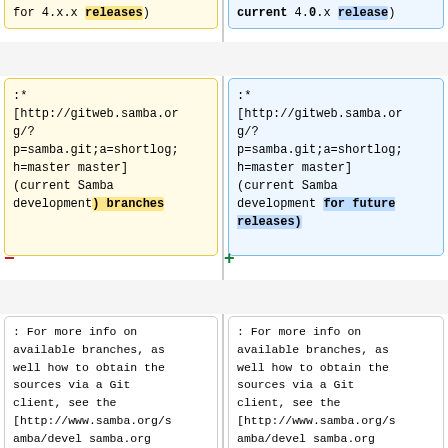for 4.x.x releases)
current 4.0.x release)
:*
[http://gitweb.samba.org/?
p=samba.git;a=shortlog;
h=master master]
(current Samba
development) branches
:*
[http://gitweb.samba.org/?
p=samba.git;a=shortlog;
h=master master]
(current Samba
development for future
releases)
: For more info on
available branches, as
well how to obtain the
sources via a Git
client, see the
[http://www.samba.org/s
amba/devel samba.org
devel page].
: For more info on
available branches, as
well how to obtain the
sources via a Git
client, see the
[http://www.samba.org/s
amba/devel samba.org
devel page].